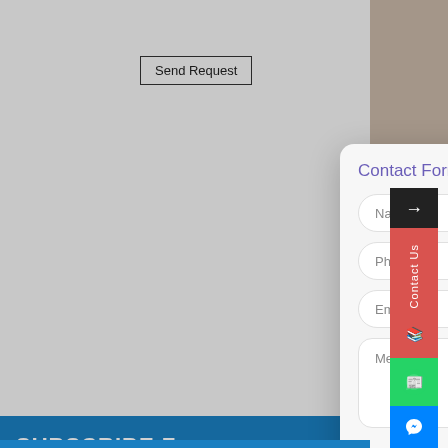[Figure (screenshot): Website screenshot showing a Send Request button, Subscribe bar, and video error block with dark background]
Send Request
SUBSCRIBE F
Code 150: Unknow
Download File: https://w
Vide
This v
YouTu
has b
[Figure (screenshot): Contact Form modal dialog with Name, Phone*, Email*, and Message input fields and a purple/violet title]
Contact Form
Name
Phone*
Email*
Message
Contact Us